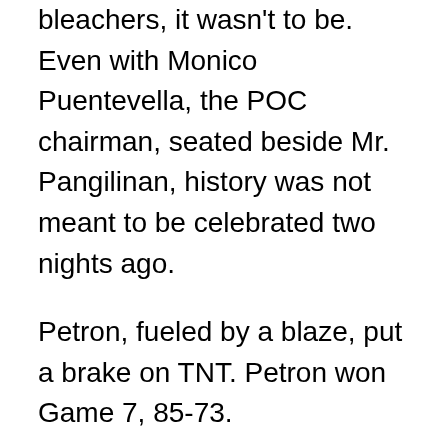bleachers, it wasn't to be. Even with Monico Puentevella, the POC chairman, seated beside Mr. Pangilinan, history was not meant to be celebrated two nights ago.
Petron, fueled by a blaze, put a brake on TNT. Petron won Game 7, 85-73.
No loss is painless but this was excruciatingly painful for Talk N Text for several reasons. One, the rare Grand Slam bid was crushed. Two, they were expected to win. In the semifinal round, reports say that TNT purposely lost in one game to